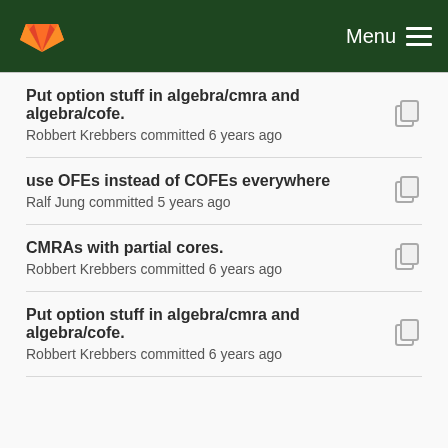Menu
Put option stuff in algebra/cmra and algebra/cofe.
Robbert Krebbers committed 6 years ago
use OFEs instead of COFEs everywhere
Ralf Jung committed 5 years ago
CMRAs with partial cores.
Robbert Krebbers committed 6 years ago
Put option stuff in algebra/cmra and algebra/cofe.
Robbert Krebbers committed 6 years ago